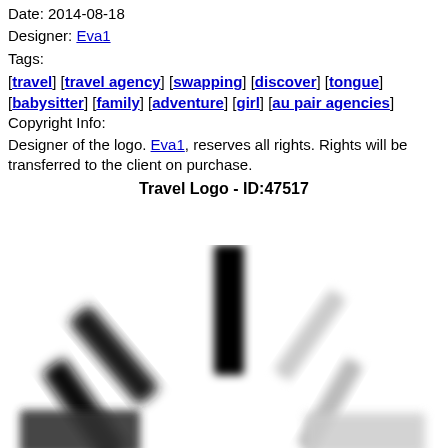Date: 2014-08-18
Designer: Eva1
Tags:
[travel] [travel agency] [swapping] [discover] [tongue] [babysitter] [family] [adventure] [girl] [au pair agencies]
Copyright Info:
Designer of the logo. Eva1, reserves all rights. Rights will be transferred to the client on purchase.
Travel Logo - ID:47517
[Figure (logo): Blurred travel logo image showing dark and light diagonal bar shapes against white background]